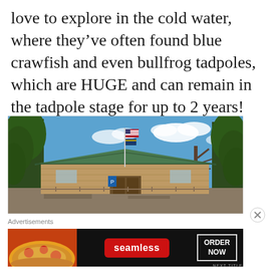love to explore in the cold water, where they've often found blue crawfish and even bullfrog tadpoles, which are HUGE and can remain in the tadpole stage for up to 2 years!
[Figure (photo): Exterior photo of a rustic log-style building with a green metal roof, American and state flags on a flagpole, surrounded by tall pine trees against a blue sky with clouds. A blue handicap parking sign is visible in front.]
Advertisements
[Figure (screenshot): Seamless food delivery advertisement banner on dark background showing pizza on left, Seamless logo in red rounded rectangle in center, and ORDER NOW button in white outlined box on right.]